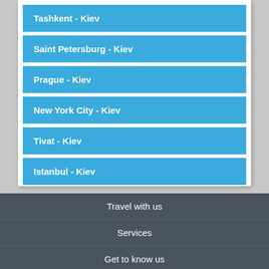Tashkent - Kiev
Saint Petersburg - Kiev
Prague - Kiev
New York City - Kiev
Tivat - Kiev
Istanbul - Kiev
Travel with us
Services
Get to know us